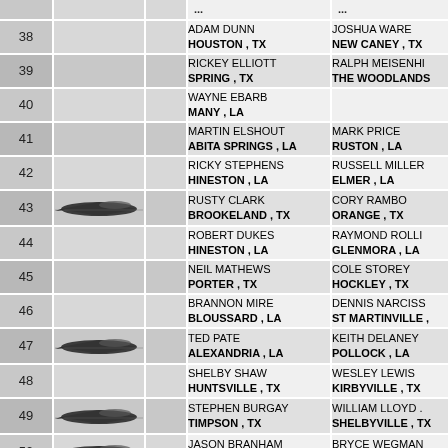| # | Boat |  | Person 1 | Person 2 |
| --- | --- | --- | --- | --- |
| 38 |  |  | ADAM DUNN
HOUSTON , TX | JOSHUA WARE
NEW CANEY , TX |
| 39 |  |  | RICKEY ELLIOTT
SPRING , TX | RALPH MEISENHI...
THE WOODLANDS |
| 40 |  |  | WAYNE EBARB
MANY , LA |  |
| 41 |  |  | MARTIN ELSHOUT
ABITA SPRINGS , LA | MARK PRICE
RUSTON , LA |
| 42 |  |  | RICKY STEPHENS
HINESTON , LA | RUSSELL MILLER
ELMER , LA |
| 43 | boat |  | RUSTY CLARK
BROOKELAND , TX | CORY RAMBO
ORANGE , TX |
| 44 |  |  | ROBERT DUKES
HINESTON , LA | RAYMOND ROLLI...
GLENMORA , LA |
| 45 |  |  | NEIL MATHEWS
PORTER , TX | COLE STOREY
HOCKLEY , TX |
| 46 |  |  | BRANNON MIRE
BLOUSSARD , LA | DENNIS NARCISS...
ST MARTINVILLE , |
| 47 | boat |  | TED PATE
ALEXANDRIA , LA | KEITH DELANEY
POLLOCK , LA |
| 48 |  |  | SHELBY SHAW
HUNTSVILLE , TX | WESLEY LEWIS
KIRBYVILLE , TX |
| 49 | boat |  | STEPHEN BURGAY
TIMPSON , TX | WILLIAM LLOYD ...
SHELBYVILLE , TX |
| 50 | boat |  | JASON BRANHAM
KATY , TX | BRYCE WEGMAN
SPRING , TX |